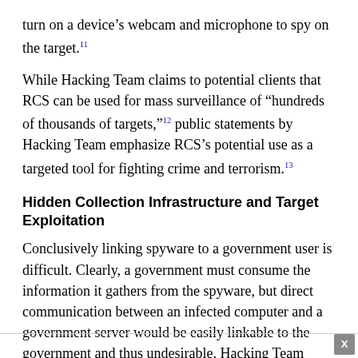turn on a device's webcam and microphone to spy on the target.[11]
While Hacking Team claims to potential clients that RCS can be used for mass surveillance of "hundreds of thousands of targets,"[12] public statements by Hacking Team emphasize RCS's potential use as a targeted tool for fighting crime and terrorism.[13]
Hidden Collection Infrastructure and Target Exploitation
Conclusively linking spyware to a government user is difficult. Clearly, a government must consume the information it gathers from the spyware, but direct communication between an infected computer and a government server would be easily linkable to the government and thus undesirable. Hacking Team advertises that the RCS "collection infrastructure"—the mechanism by which data gathered by the spyware is transmitted to the government—renders th